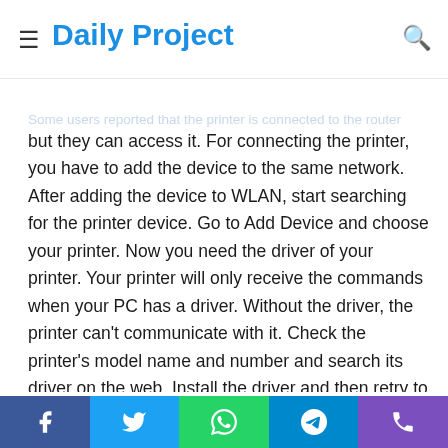Daily Project
but they can access it. For connecting the printer, you have to add the device to the same network. After adding the device to WLAN, start searching for the printer device. Go to Add Device and choose your printer. Now you need the driver of your printer. Your printer will only receive the commands when your PC has a driver. Without the driver, the printer can't communicate with it. Check the printer's model name and number and search its driver on the web. Install the driver and then retry to create the printer WLAN connection.
Disable the firewall temporarily
Many times the printer can't connect to the WLAN due to the firewall. The firewall inspects every incoming traffic and